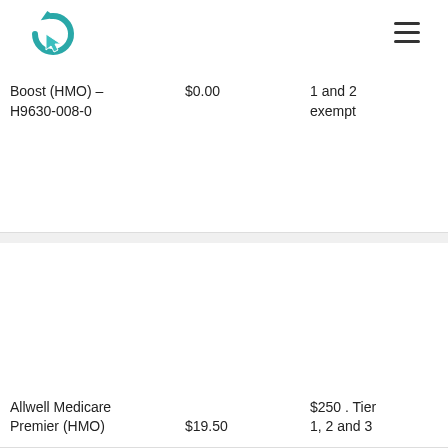Logo and navigation header
| Plan | Premium | Drug Coverage |
| --- | --- | --- |
| Boost (HMO) – H9630-008-0 | $0.00 | 1 and 2 exempt |
| Allwell Medicare Premier (HMO) | $19.50 | $250 . Tier 1, 2 and 3 |